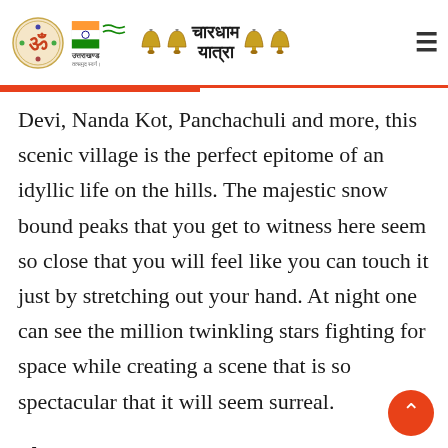Uttarakhand Chardham Yatra website header with Om logo, Uttarakhand branding, bells and Chardham Yatra text in Hindi, and hamburger menu
Devi, Nanda Kot, Panchachuli and more, this scenic village is the perfect epitome of an idyllic life on the hills. The majestic snow bound peaks that you get to witness here seem so close that you will feel like you can touch it just by stretching out your hand. At night one can see the million twinkling stars fighting for space while creating a scene that is so spectacular that it will seem surreal.
Places to See – Arjuneshwar Temple, Nag Mandir of Berinag, Mahakali Temple Of Gangolihat, Kapileshwar Mahadev Temple